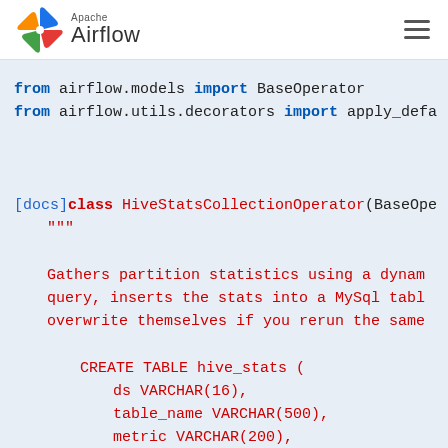[Figure (logo): Apache Airflow logo with pinwheel icon and text]
from airflow.models import BaseOperator
from airflow.utils.decorators import apply_defa…

[docs]class HiveStatsCollectionOperator(BaseOpe…
    """
    Gathers partition statistics using a dynam…
    query, inserts the stats into a MySql tabl…
    overwrite themselves if you rerun the same…

        CREATE TABLE hive_stats (
            ds VARCHAR(16),
            table_name VARCHAR(500),
            metric VARCHAR(200),
            value BIGINT
        );